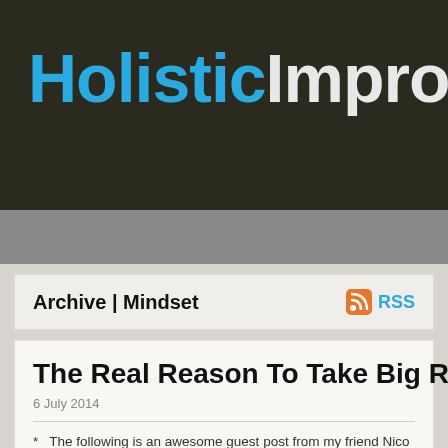HolisticImprovement
Become Your Best Self
Start Here | About Me | Get Motivated! | Support | Coach
Archive | Mindset
The Real Reason To Take Big Ris
6 July 2014
* The following is an awesome guest post from my friend Nico Jannasch. H website to be all about risk taking, and it's really exciting and inspirational. T risks is exciting. Hiking through the Amazon days away from any nearby b massive mountains where […]
Continue reading